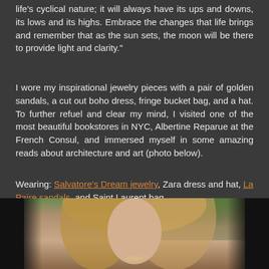life's cyclical nature; it will always have its ups and downs, its lows and its highs. Embrace the changes that life brings and remember that as the sun sets, the moon will be there to provide light and clarity."
I wore my inspirational jewelry pieces with a pair of golden sandals, a cut out boho dress, fringe bucket bag, and a hat. To further refuel and clear my mind, I visited one of the most beautiful bookstores in NYC, Albertine Reparue at the French Consul, and immersed myself in some amazing reads about architecture and art (photo below).
Wearing: Salvatore's Dream jewelry, Zara dress and hat, La Paire sandals, and Saint Laurent bag.
[Figure (photo): Portrait photo of a blonde woman wearing a necklace, with green foliage in the background, dark vignette on sides]